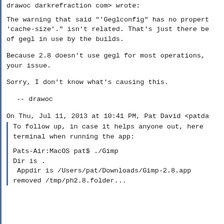drawoc darkrefraction com> wrote:
The warning that said "'Geglconfig" has no property 'cache-size'." isn't related. That's just there because of gegl in use by the builds.
Because 2.8 doesn't use gegl for most operations, your issue.
Sorry, I don't know what's causing this.
-- drawoc
On Thu, Jul 11, 2013 at 10:41 PM, Pat David <patda
To follow up, in case it helps anyone out, here terminal when running the app:
Pats-Air:MacOS pat$ ./Gimp
Dir is .
 Appdir is /Users/pat/Downloads/Gimp-2.8.app
removed /tmp/ph2.8.folder...